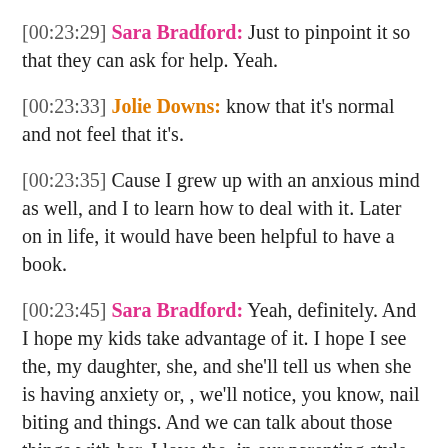[00:23:29] Sara Bradford: Just to pinpoint it so that they can ask for help. Yeah.
[00:23:33] Jolie Downs: know that it's normal and not feel that it's.
[00:23:35] Cause I grew up with an anxious mind as well, and I to learn how to deal with it. Later on in life, it would have been helpful to have a book.
[00:23:45] Sara Bradford: Yeah, definitely. And I hope my kids take advantage of it. I hope I see the, my daughter, she, and she'll tell us when she is having anxiety or, , we'll notice, you know, nail biting and things. And we can talk about those things with her. I love the, in our parenting style with my husband and I.
[00:24:04] Just done something different than we received or, you know, then we gave to our children, I